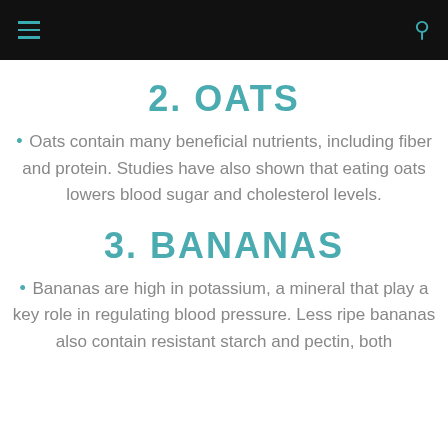2. OATS
Oats contain many beneficial nutrients, including fiber and protein. Studies have also shown that eating oats lowers blood sugar and cholesterol levels.
3. BANANAS
Bananas are high in potassium, a mineral that play a key role in regulating blood pressure. Less ripe bananas also contain resistant starch and pectin, both